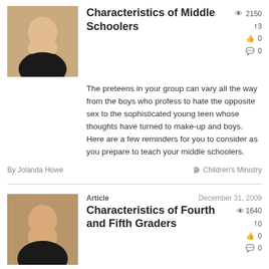Characteristics of Middle Schoolers
The preteens in your group can vary all the way from the boys who profess to hate the opposite sex to the sophisticated young teen whose thoughts have turned to make-up and boys. Here are a few reminders for you to consider as you prepare to teach your middle schoolers.
By Jolanda Howe
Children's Ministry
Article
December 31, 2009
Characteristics of Fourth and Fifth Graders
Being aware of the patterns of development of fourth and fifth graders can help you understand and minister to the unique persons God has placed in your care. Here are few useful reminders.